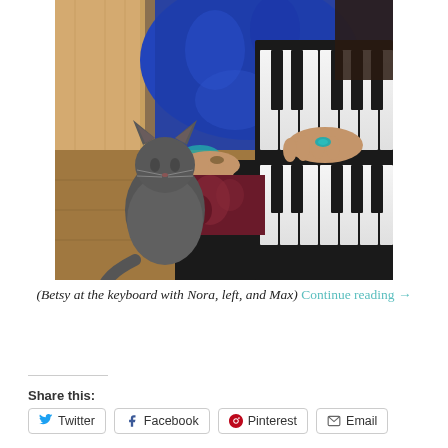[Figure (photo): A person in a blue patterned garment wearing large rings plays a keyboard/piano. A gray cat sits on the piano bench to the left of the player.]
(Betsy at the keyboard with Nora, left, and Max) Continue reading →
Share this: